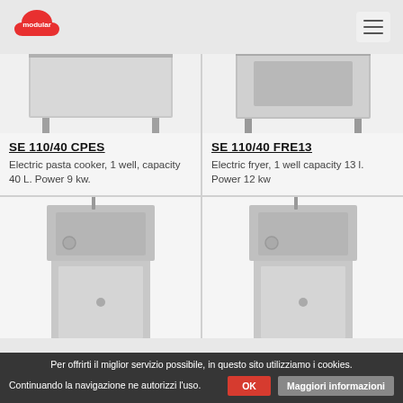[Figure (logo): Modular brand logo - red cloud shape with 'modular' text]
[Figure (illustration): Hamburger menu icon]
[Figure (photo): SE 110/40 CPES - Electric pasta cooker product image, stainless steel unit with legs]
SE 110/40 CPES
Electric pasta cooker, 1 well, capacity 40 L. Power 9 kw.
[Figure (photo): SE 110/40 FRE13 - Electric fryer product image, stainless steel unit with legs]
SE 110/40 FRE13
Electric fryer, 1 well capacity 13 l. Power 12 kw
[Figure (photo): Third product - fryer/cooker with cabinet base, partially visible]
[Figure (photo): Fourth product - fryer/cooker with cabinet base, partially visible]
Per offrirti il miglior servizio possibile, in questo sito utilizziamo i cookies. Continuando la navigazione ne autorizzi l'uso.